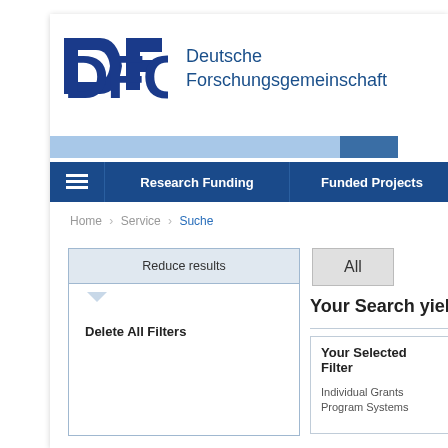[Figure (logo): DFG logo with Deutsche Forschungsgemeinschaft text]
Research Funding | Funded Projects
Home › Service › Suche
Reduce results
Delete All Filters
All
Your Search yielde
Your Selected Filter
Individual Grants Program Systems